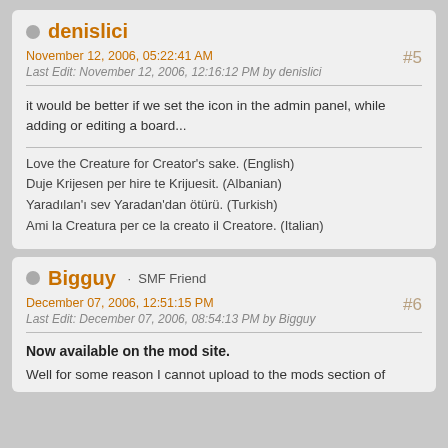denislici
November 12, 2006, 05:22:41 AM
Last Edit: November 12, 2006, 12:16:12 PM by denislici
#5
it would be better if we set the icon in the admin panel, while adding or editing a board...
Love the Creature for Creator's sake. (English)
Duje Krijesen per hire te Krijuesit. (Albanian)
Yaradılan'ı sev Yaradan'dan ötürü. (Turkish)
Ami la Creatura per ce la creato il Creatore. (Italian)
Bigguy · SMF Friend
December 07, 2006, 12:51:15 PM
Last Edit: December 07, 2006, 08:54:13 PM by Bigguy
#6
Now available on the mod site.
Well for some reason I cannot upload to the mods section of